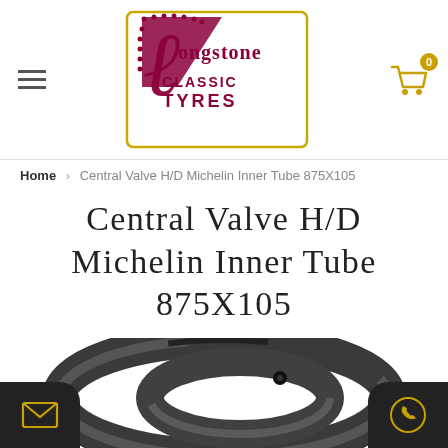[Figure (logo): Longstone Classic Tyres logo — red ribbon lettering on a gold bordered tag shape, dark red serif text]
Home › Central Valve H/D Michelin Inner Tube 875X105
Central Valve H/D Michelin Inner Tube 875X105
[Figure (photo): A coiled black rubber inner tube (bicycle/motorcycle size) photographed on a white background, showing the central valve]